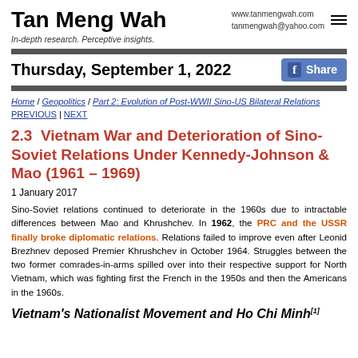Tan Meng Wah | www.tanmengwah.com | tanmengwah@yahoo.com | In-depth research. Perceptive insights.
Thursday, September 1, 2022
Home / Geopolitics / Part 2: Evolution of Post-WWII Sino-US Bilateral Relations
PREVIOUS | NEXT
2.3  Vietnam War and Deterioration of Sino-Soviet Relations Under Kennedy-Johnson & Mao (1961 – 1969)
1 January 2017
Sino-Soviet relations continued to deteriorate in the 1960s due to intractable differences between Mao and Khrushchev. In 1962, the PRC and the USSR finally broke diplomatic relations. Relations failed to improve even after Leonid Brezhnev deposed Premier Khrushchev in October 1964. Struggles between the two former comrades-in-arms spilled over into their respective support for North Vietnam, which was fighting first the French in the 1950s and then the Americans in the 1960s.
Vietnam's Nationalist Movement and Ho Chi Minh[1]